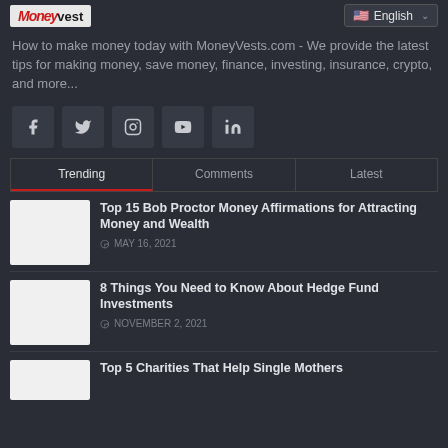MoneyVest — English language selector
How to make money today with MoneyVests.com - We provide the latest tips for making money, save money, finance, investing, insurance, crypto, and more...
[Figure (infographic): Social media icon buttons: Facebook, Twitter, Instagram, YouTube, LinkedIn]
[Figure (infographic): Tab navigation bar with three tabs: Trending (active, red underline), Comments, Latest]
[Figure (photo): Thumbnail image placeholder for Top 15 Bob Proctor Money Affirmations article]
Top 15 Bob Proctor Money Affirmations for Attracting Money and Wealth
MAY 16, 2021
[Figure (photo): Thumbnail image placeholder for 8 Things You Need to Know About Hedge Fund Investments article]
8 Things You Need to Know About Hedge Fund Investments
NOVEMBER 2, 2021
[Figure (photo): Thumbnail image placeholder for Top 5 Charities That Help Single Mothers article]
Top 5 Charities That Help Single Mothers